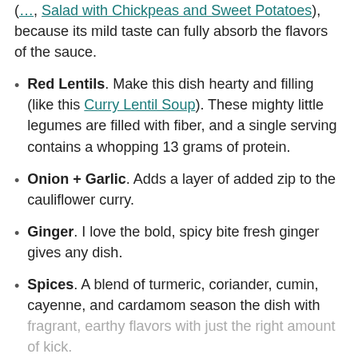Salad with Chickpeas and Sweet Potatoes), because its mild taste can fully absorb the flavors of the sauce.
Red Lentils. Make this dish hearty and filling (like this Curry Lentil Soup). These mighty little legumes are filled with fiber, and a single serving contains a whopping 13 grams of protein.
Onion + Garlic. Adds a layer of added zip to the cauliflower curry.
Ginger. I love the bold, spicy bite fresh ginger gives any dish.
Spices. A blend of turmeric, coriander, cumin, cayenne, and cardamom season the dish with fragrant, earthy flavors with just the right amount of kick.